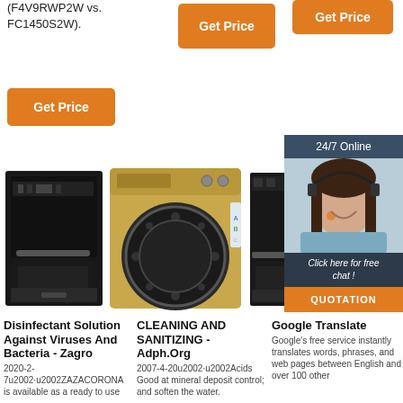(F4V9RWP2W vs. FC1450S2W).
Get Price
Get Price
Get Price
[Figure (photo): Black built-in oven/dishwasher appliance]
[Figure (photo): Gold/champagne front-loading washing machine]
[Figure (photo): Black built-in dishwasher appliance (partially visible)]
[Figure (photo): Customer service agent woman with headset, 24/7 Online chat widget with QUOTATION button]
Disinfectant Solution Against Viruses And Bacteria - Zagro
2020-2-7u2002·u2002ZAZACORONA is available as a ready to use
CLEANING AND SANITIZING - Adph.Org
2007-4-20u2002·u2002Acids Good at mineral deposit control; and soften the water.
Google Translate
Google's free service instantly translates words, phrases, and web pages between English and over 100 other